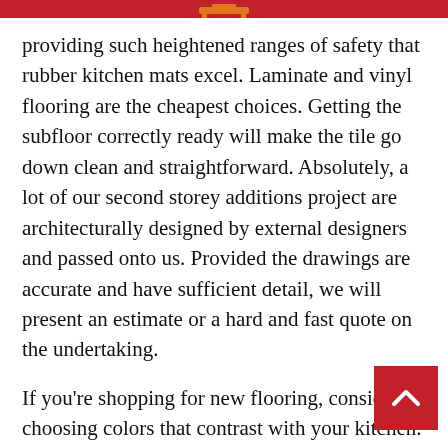providing such heightened ranges of safety that rubber kitchen mats excel. Laminate and vinyl flooring are the cheapest choices. Getting the subfloor correctly ready will make the tile go down clean and straightforward. Absolutely, a lot of our second storey additions project are architecturally designed by external designers and passed onto us. Provided the drawings are accurate and have sufficient detail, we will present an estimate or a hard and fast quote on the undertaking.
If you're shopping for new flooring, consider choosing colors that contrast with your kitchen. This hardy groundcover presents each colourful foliage and flowers. Conventional flooring varieties corresponding to hardwood, concrete, and ceramic tile could look good, however they are also